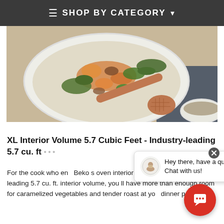≡  SHOP BY CATEGORY ▾
[Figure (photo): Overhead photo of a dish with roasted vegetables including carrots, peas, and herbs on a white plate, with a copper slotted spoon and a second small white bowl with greens in the background]
XL Interior Volume 5.7 Cubic Feet - Industry-leading 5.7 cu. ft
For the cook who en... Beko s oven interior... class. With an industry-leading 5.7 cu. ft. interior volume, you ll have more than enough room for caramelized vegetables and tender roast at your dinner party.
Hey there, have a question? Chat with us!